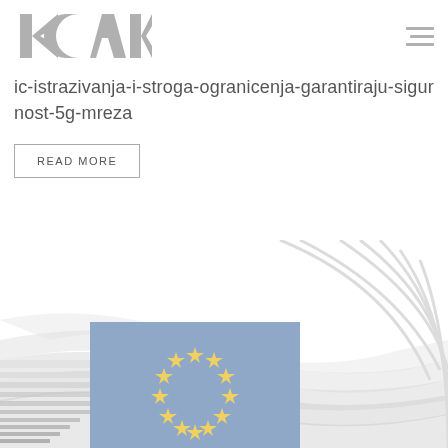[Figure (logo): ICOAK organization logo in grey tones with geometric shapes and vertical bar pattern]
ic-istrazivanja-i-stroga-ogranicenja-garantiraju-sigurnost-5g-mreza
READ MORE
[Figure (photo): European Commission building background with decorative curved lines and EU flag inset showing blue background with yellow stars in a circle]